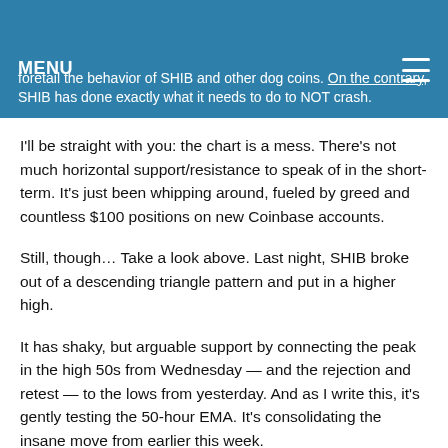foretail the behavior of SHIB and other dog coins. On the contrary, SHIB has done exactly what it needs to do to NOT crash.
I'll be straight with you: the chart is a mess. There's not much horizontal support/resistance to speak of in the short-term. It's just been whipping around, fueled by greed and countless $100 positions on new Coinbase accounts.
Still, though... Take a look above. Last night, SHIB broke out of a descending triangle pattern and put in a higher high.
It has shaky, but arguable support by connecting the peak in the high 50s from Wednesday — and the rejection and retest — to the lows from yesterday. And as I write this, it's gently testing the 50-hour EMA. It's consolidating the insane move from earlier this week.
I really don't think SHIB is done. I actually believe it will make new highs in the next 3–6 months. And that's why I'm still